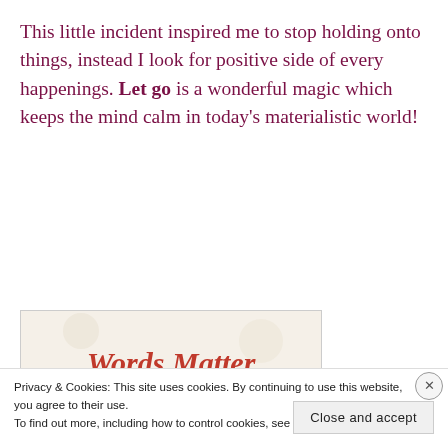This little incident inspired me to stop holding onto things, instead I look for positive side of every happenings. Let go is a wonderful magic which keeps the mind calm in today's materialistic world!
[Figure (illustration): A decorative blog header image with text 'Words Matter' in italic red font and subtitle 'let them flow' on a parchment-colored background with leaf and pen decorations.]
Privacy & Cookies: This site uses cookies. By continuing to use this website, you agree to their use.
To find out more, including how to control cookies, see here: Cookie Policy
Close and accept